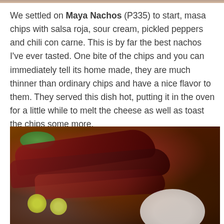[Figure (photo): Partial top strip of a food photo visible at the very top of the page]
We settled on Maya Nachos (P335) to start, masa chips with salsa roja, sour cream, pickled peppers and chili con carne. This is by far the best nachos I've ever tasted. One bite of the chips and you can immediately tell its home made, they are much thinner than ordinary chips and have a nice flavor to them. They served this dish hot, putting it in the oven for a little while to melt the cheese as well as toast the chips some more.
[Figure (photo): Photo of grilled/barbecued meat ribs on a plate with lime/citrus and green garnish, served on a wooden board]